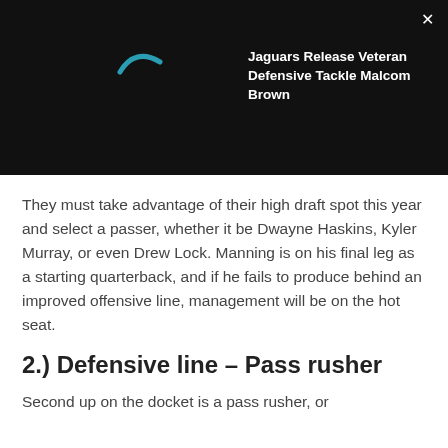[Figure (screenshot): Dark advertisement banner for a news article titled 'Jaguars Release Veteran Defensive Tackle Malcom Brown' with a teal logo curve and a white X close button]
They must take advantage of their high draft spot this year and select a passer, whether it be Dwayne Haskins, Kyler Murray, or even Drew Lock. Manning is on his final leg as a starting quarterback, and if he fails to produce behind an improved offensive line, management will be on the hot seat.
2.) Defensive line – Pass rusher
Second up on the docket is a pass rusher, or